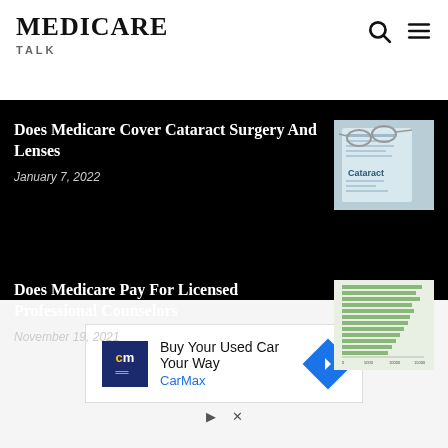MEDICARE TALK
Editor Picks
Does Medicare Cover Cataract Surgery And Lenses
January 7, 2022
[Figure (photo): Medical document with the word Cataract visible, with eyeglasses resting on top]
Does Medicare Pay For Licensed Professional Counselors
November 19, 2021
[Figure (bar-chart): Horizontal bar chart with green bars showing data related to licensed professional counselors]
Buy Your Used Car Your Way CarMax